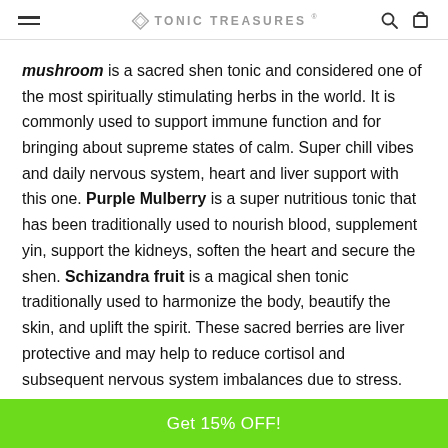TONIC TREASURES
mushroom is a sacred shen tonic and considered one of the most spiritually stimulating herbs in the world. It is commonly used to support immune function and for bringing about supreme states of calm. Super chill vibes and daily nervous system, heart and liver support with this one. Purple Mulberry is a super nutritious tonic that has been traditionally used to nourish blood, supplement yin, support the kidneys, soften the heart and secure the shen. Schizandra fruit is a magical shen tonic traditionally used to harmonize the body, beautify the skin, and uplift the spirit. These sacred berries are liver protective and may help to reduce cortisol and subsequent nervous system imbalances due to stress.
Get 15% OFF!